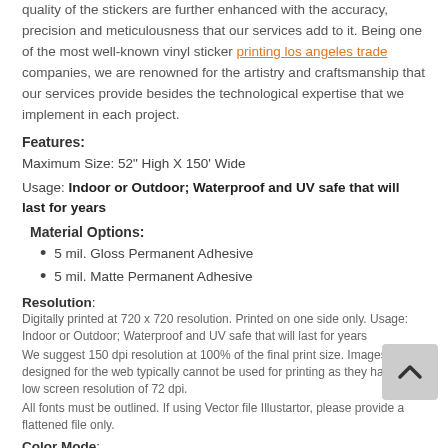quality of the stickers are further enhanced with the accuracy, precision and meticulousness that our services add to it. Being one of the most well-known vinyl sticker printing los angeles trade companies, we are renowned for the artistry and craftsmanship that our services provide besides the technological expertise that we implement in each project.
Features:
Maximum Size: 52" High X 150' Wide
Usage: Indoor or Outdoor; Waterproof and UV safe that will last for years
Material Options:
5 mil. Gloss Permanent Adhesive
5 mil. Matte Permanent Adhesive
Resolution:
Digitally printed at 720 x 720 resolution. Printed on one side only. Usage: Indoor or Outdoor; Waterproof and UV safe that will last for years
We suggest 150 dpi resolution at 100% of the final print size. Images designed for the web typically cannot be used for printing as they have a low screen resolution of 72 dpi.
All fonts must be outlined. If using Vector file Illustartor, please provide a flattened file only.
Color Mode:
All colors to be used in print must be available in CMYK...